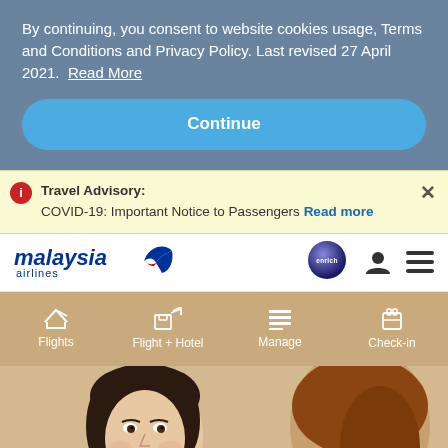By continuing, you consent to website cookies usage, Terms and Conditions and Privacy Policy. Last revised 27 April 2021. Read More
Continue
Travel Advisory: COVID-19: Important Notice to Passengers Read more
[Figure (logo): Malaysia Airlines logo with stylized bird/kite mark]
[Figure (logo): Enrich loyalty program purple globe logo]
Flights
Flight + Hotel
Manage
Check-in
[Figure (photo): Smiling female flight attendant in foreground, another person visible from behind on right side]